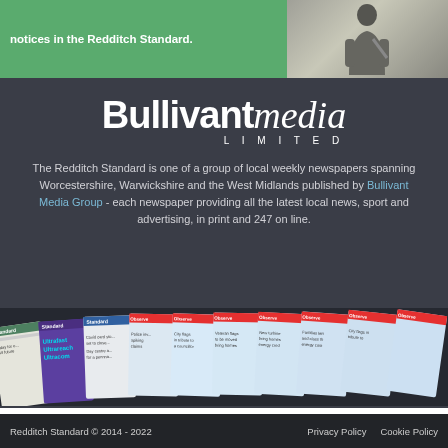notices in the Redditch Standard.
[Figure (photo): Person viewed from behind standing near a notice board]
[Figure (logo): Bullivant media LIMITED logo in white on dark background]
The Redditch Standard is one of a group of local weekly newspapers spanning Worcestershire, Warwickshire and the West Midlands published by Bullivant Media Group - each newspaper providing all the latest local news, sport and advertising, in print and 247 on line.
[Figure (photo): Row of newspaper front pages fanned out - Standard and Observer titles]
Redditch Standard © 2014 - 2022    Privacy Policy    Cookie Policy